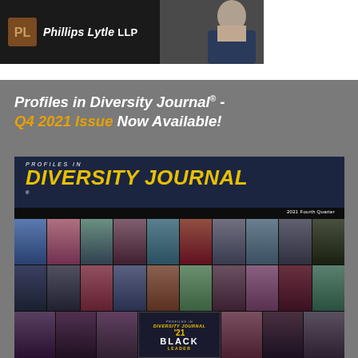[Figure (photo): Phillips Lytle LLP logo banner with dark background and partial photo of a woman at right]
[Figure (infographic): Gray promotional banner for Profiles in Diversity Journal Q4 2021 Issue Now Available, showing the magazine cover with a collage of diverse Black leaders' portraits and the Profiles in Diversity Journal logo, 2021 Fourth Quarter issue, with a Black Leaders Awards badge overlay]